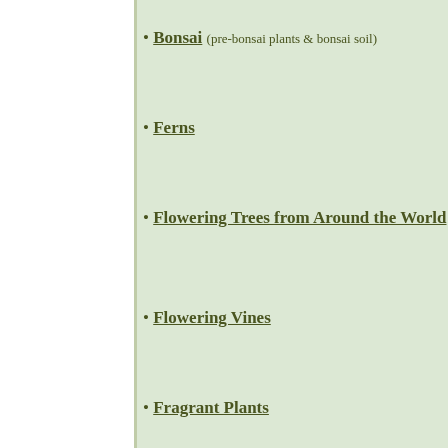Bonsai (pre-bonsai plants & bonsai soil)
Hoy...
Ferns
Ind...
Flowering Trees from Around the World
Pla...
Flowering Vines
Pla...
Fragrant Plants
Rar...
Fruit Trees and Edible Garden
Unu...
Gardino Nursery : a tropical nursery in South Florida s Delray Beach, FL • PHONE: 1-888-241- Office Hours are 9:00AM - 5:00PM E
home / plant list / shop / new / specials / ordering